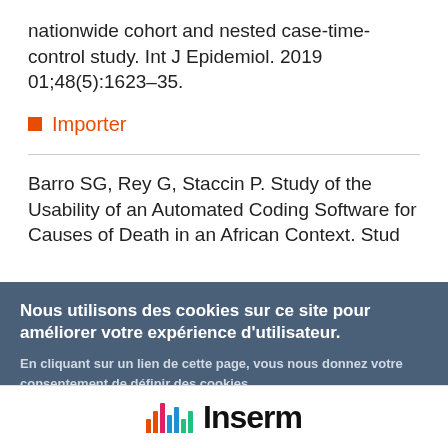nationwide cohort and nested case-time-control study. Int J Epidemiol. 2019 01;48(5):1623–35.
Importer
Barro SG, Rey G, Staccin P. Study of the Usability of an Automated Coding Software for Causes of Death in an African Context. Stud
Nous utilisons des cookies sur ce site pour améliorer votre expérience d'utilisateur.

En cliquant sur un lien de cette page, vous nous donnez votre consentement de définir des cookies.
[Figure (logo): Inserm logo with colored bar chart icon and bold 'Inserm' text]